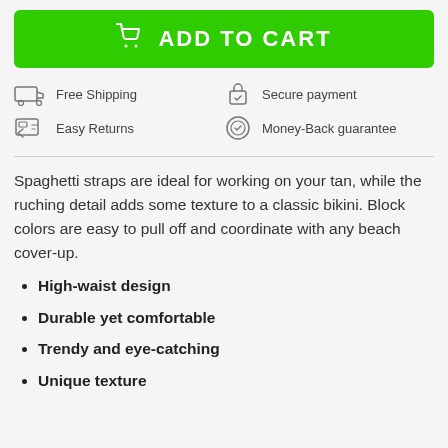[Figure (other): Green 'Add to Cart' button with shopping cart icon]
[Figure (infographic): Four trust badges: Free Shipping (truck icon), Secure payment (lock icon), Easy Returns (return icon), Money-Back guarantee (shield icon)]
Spaghetti straps are ideal for working on your tan, while the ruching detail adds some texture to a classic bikini. Block colors are easy to pull off and coordinate with any beach cover-up.
High-waist design
Durable yet comfortable
Trendy and eye-catching
Unique texture